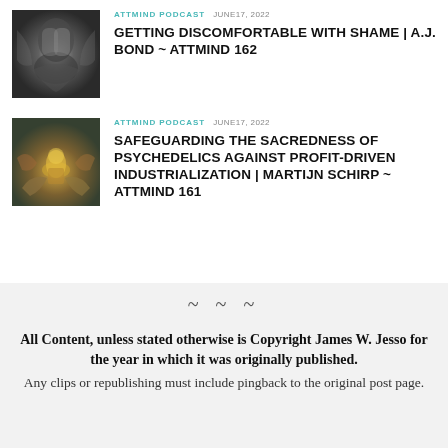[Figure (photo): Thumbnail image with dark symmetrical abstract design, person with hands on head]
ATTMIND PODCAST   JUNE17, 2022
GETTING DISCOMFORTABLE WITH SHAME | A.J. BOND ~ ATTMIND 162
[Figure (photo): Thumbnail image with mushroom on mossy ground surrounded by colorful hands, earthy tones]
ATTMIND PODCAST   JUNE17, 2022
SAFEGUARDING THE SACREDNESS OF PSYCHEDELICS AGAINST PROFIT-DRIVEN INDUSTRIALIZATION | MARTIJN SCHIRP ~ ATTMIND 161
~ ~ ~
All Content, unless stated otherwise is Copyright James W. Jesso for the year in which it was originally published.
Any clips or republishing must include pingback to the original post page.